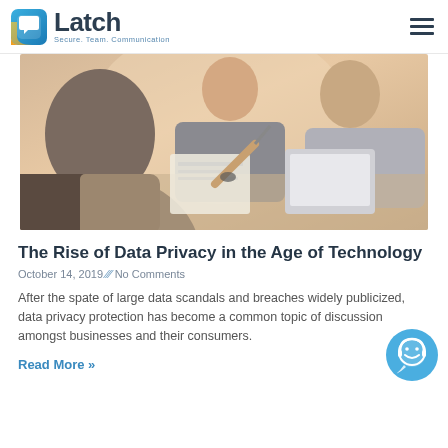Latch — Secure. Team. Communication.
[Figure (photo): Three people in a business meeting, reviewing documents and using a laptop/tablet. Warm-toned office photo.]
The Rise of Data Privacy in the Age of Technology
October 14, 2019 /// No Comments
After the spate of large data scandals and breaches widely publicized, data privacy protection has become a common topic of discussion amongst businesses and their consumers.
Read More »